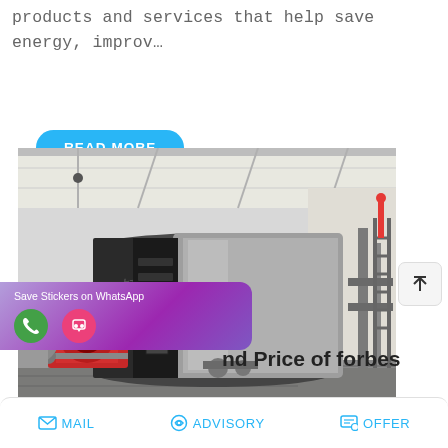products and services that help save energy, improv…
[Figure (other): READ MORE button - rounded blue pill button with white bold text]
[Figure (photo): Industrial boiler installation in a factory building. Large cylindrical silver boiler with red burner and black front panel, connected piping and ladders, industrial facility interior with white walls and metal roof.]
[Figure (other): WhatsApp sticker save overlay with purple gradient background, showing phone icon (green circle) and message icon (pink circle), text: Save Stickers on WhatsApp]
nd Price of forbes
MAIL   ADVISORY   OFFER